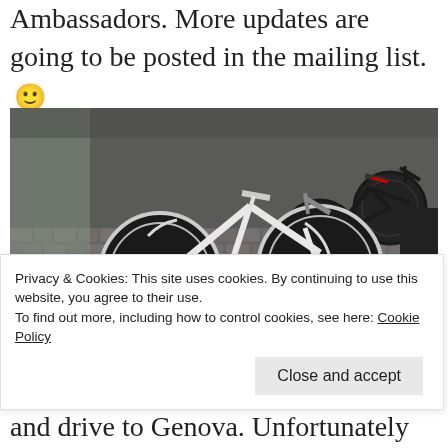Ambassadors. More updates are going to be posted in the mailing list. 🙂
[Figure (photo): Photograph of several bicycles parked in a metal bike rack on a cobblestone street, with a building wall visible in the background.]
Privacy & Cookies: This site uses cookies. By continuing to use this website, you agree to their use.
To find out more, including how to control cookies, see here: Cookie Policy
and drive to Genova. Unfortunately the renting